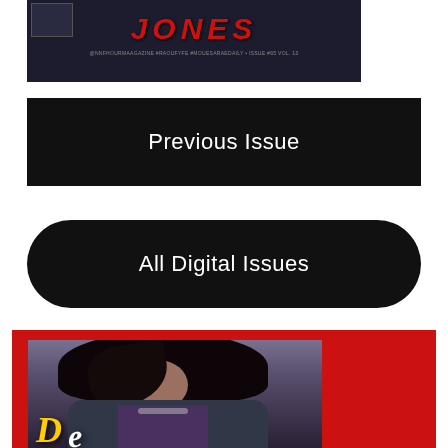[Figure (photo): Magazine cover showing 'JONES' title text in red italic letters on dark background, with small inset image top left and social media/issue info text at bottom]
Previous Issue
All Digital Issues
[Figure (photo): Magazine cover with red background featuring a woman with curly hair wearing a jacket and necklace, with stylized yellow and white title lettering at the bottom]